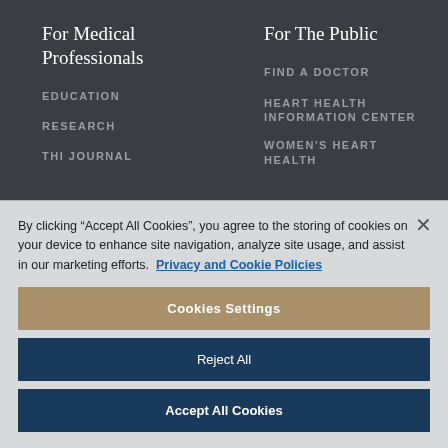For Medical Professionals
EDUCATION
RESEARCH
THI JOURNAL
For The Public
FIND A DOCTOR
HEART HEALTH INFORMATION CENTER
WOMEN'S HEART HEALTH
By clicking “Accept All Cookies”, you agree to the storing of cookies on your device to enhance site navigation, analyze site usage, and assist in our marketing efforts. Privacy and Cookie Policies
Cookies Settings
Reject All
Accept All Cookies